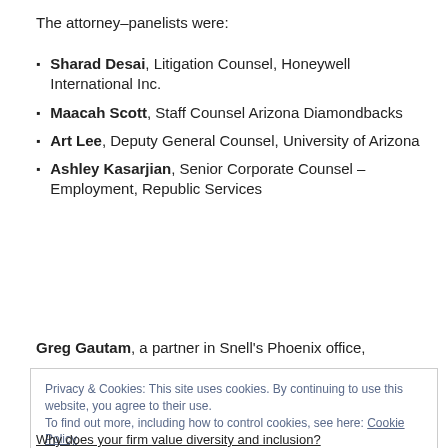The attorney–panelists were:
Sharad Desai, Litigation Counsel, Honeywell International Inc.
Maacah Scott, Staff Counsel Arizona Diamondbacks
Art Lee, Deputy General Counsel, University of Arizona
Ashley Kasarjian, Senior Corporate Counsel – Employment, Republic Services
Greg Gautam, a partner in Snell's Phoenix office,
Privacy & Cookies: This site uses cookies. By continuing to use this website, you agree to their use.
To find out more, including how to control cookies, see here: Cookie Policy
Why does your firm value diversity and inclusion?